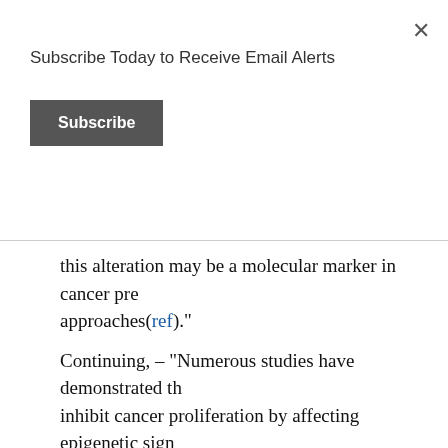Subscribe Today to Receive Email Alerts
Subscribe
this alteration may be a molecular marker in cancer pr... approaches(ref)."
Continuing, – “Numerous studies have demonstrated th... inhibit cancer proliferation by affecting epigenetic sign... and in vivo [37, 38]. The green tea polyphenol, EGCG, ... ingredient for cancer inhibition through epigenetic con... EGCG can reverse CpG island hypermethylation of va... genes and reactivate these gene expressions through in... activity [39]. Moreover, EGCG has been proposed to r... through the mechanism of chromatin remodeling sugge... its anticancer ability through both epigenetic mechanis... bioactive dietary compound is the soybean isoflavone, ... found to inhibit tumorigenesis through epigenetic com...